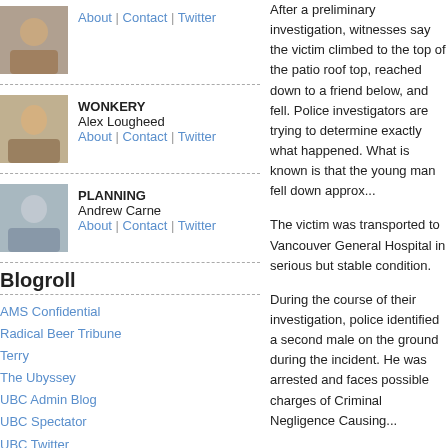[Figure (photo): Author photo with links: About | Contact | Twitter]
WONKERY
Alex Lougheed
About | Contact | Twitter
PLANNING
Andrew Carne
About | Contact | Twitter
Blogroll
AMS Confidential
Radical Beer Tribune
Terry
The Ubyssey
UBC Admin Blog
UBC Spectator
UBC Twitter
[Figure (logo): Creative Commons BY NC SA license badge]
After a preliminary investigation, witnesses say the victim climbed to the top of the patio roof top, reached down to a friend below, and fell. Police investigators are trying to determine exactly what happened. What is known is that the young man fell down approx...
The victim was transported to Vancouver General Hospital in serious but stable condition.
During the course of their investigation, police identified a second male on the ground during the incident. He was arrested and faces possible charges of Criminal Negligence Causing...
Both young men are UBC students and were attending a party near the incident. Students were celebrating Arts County Fair, a UBC tradition that symbolizes the end of classes.
This incident serves as a grim reminder that alcohol can significantly lead to poor decisions.
Released by:
Cst. Annie Linteau
"E" Division Strategic Communications
Phone#: (604)264-2929